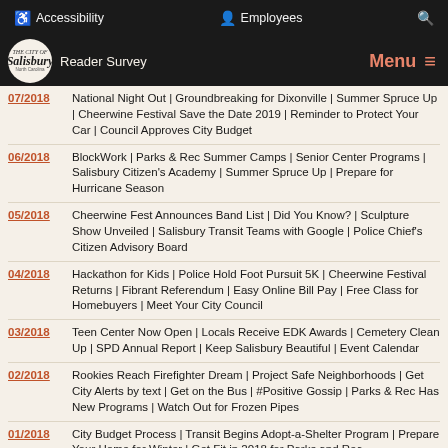Accessibility | Employees | Search
The City of Salisbury | Reader Survey | Menu
07/2018 — National Night Out | Groundbreaking for Dixonville | Summer Spruce Up | Cheerwine Festival Save the Date 2019 | Reminder to Protect Your Car | Council Approves City Budget
06/2018 — BlockWork | Parks & Rec Summer Camps | Senior Center Programs | Salisbury Citizen's Academy | Summer Spruce Up | Prepare for Hurricane Season
05/2018 — Cheerwine Fest Announces Band List | Did You Know? | Sculpture Show Unveiled | Salisbury Transit Teams with Google | Police Chief's Citizen Advisory Board
04/2018 — Hackathon for Kids | Police Hold Foot Pursuit 5K | Cheerwine Festival Returns | Fibrant Referendum | Easy Online Bill Pay | Free Class for Homebuyers | Meet Your City Council
03/2018 — Teen Center Now Open | Locals Receive EDK Awards | Cemetery Clean Up | SPD Annual Report | Keep Salisbury Beautiful | Event Calendar
02/2018 — Rookies Reach Firefighter Dream | Project Safe Neighborhoods | Get City Alerts by text | Get on the Bus | #Positive Gossip | Parks & Rec Has New Programs | Watch Out for Frozen Pipes
01/2018 — City Budget Process | Transit Begins Adopt-a-Shelter Program | Prepare Your Home for Winter | Get Fit in 2018 for Parks and Rec